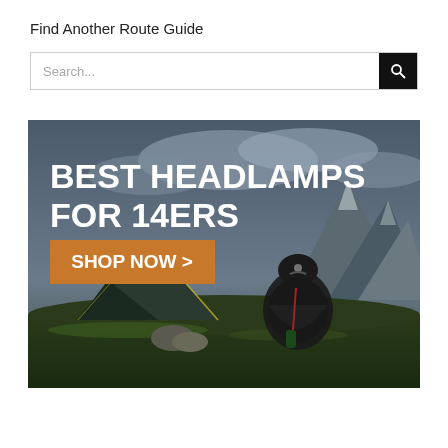Find Another Route Guide
Search...
[Figure (photo): Advertisement banner showing a person sitting cross-legged outdoors at a mountain campsite with a tent and dramatic cloudy mountain scenery in the background. Text overlay reads 'BEST HEADLAMPS FOR 14ERS' with an orange 'SHOP NOW >' button.]